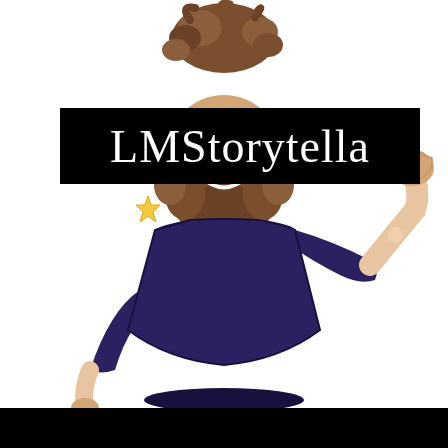[Figure (illustration): Cartoon/anime-style illustration of a person with brown curly hair and a full brown beard, wearing a dark navy/purple t-shirt, raising their right fist. A small yellow star flower is visible near their left side. The character's face is obscured by a black banner overlay with the text 'LMStorytella'.]
LMStorytella